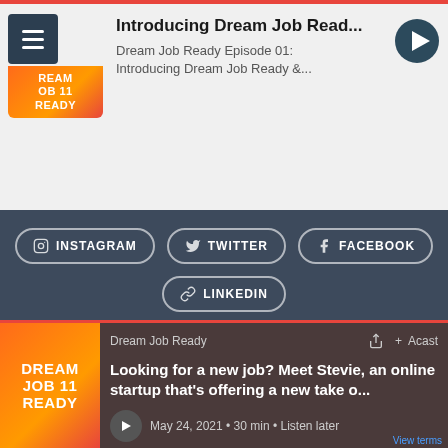[Figure (screenshot): Podcast app screenshot showing Dream Job Ready podcast card with orange logo, hamburger menu icon, title 'Introducing Dream Job Read...', description text, and play button]
Introducing Dream Job Read...
Dream Job Ready Episode 01: Introducing Dream Job Ready &...
[Figure (screenshot): Social media buttons: Instagram, Twitter, Facebook, LinkedIn on dark background]
INSTAGRAM
TWITTER
FACEBOOK
LINKEDIN
[Figure (screenshot): Acast podcast player bar at bottom showing Dream Job Ready podcast with orange logo, episode title 'Looking for a new job? Meet Stevie, an online startup that's offering a new take o...', May 24, 2021, 30 min, Listen later]
Dream Job Ready
Looking for a new job? Meet Stevie, an online startup that's offering a new take o...
May 24, 2021 • 30 min • Listen later